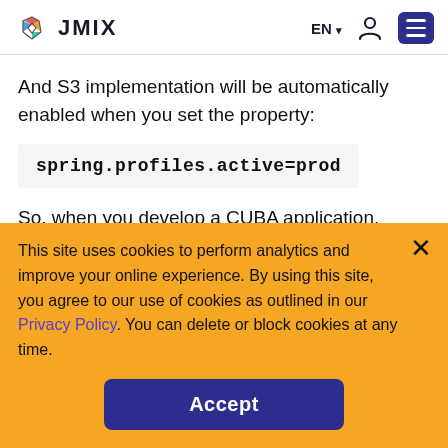JMIX — EN / user / menu
And S3 implementation will be automatically enabled when you set the property:
So, when you develop a CUBA application,
This site uses cookies to perform analytics and improve your online experience. By using this site, you agree to our use of cookies as outlined in our Privacy Policy. You can delete or block cookies at any time.
Accept